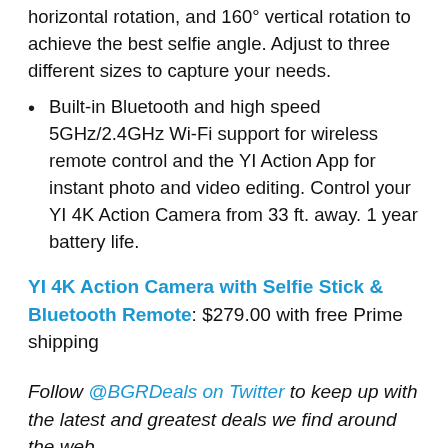horizontal rotation, and 160° vertical rotation to achieve the best selfie angle. Adjust to three different sizes to capture your needs.
Built-in Bluetooth and high speed 5GHz/2.4GHz Wi-Fi support for wireless remote control and the YI Action App for instant photo and video editing. Control your YI 4K Action Camera from 33 ft. away. 1 year battery life.
YI 4K Action Camera with Selfie Stick & Bluetooth Remote: $279.00 with free Prime shipping
Follow @BGRDeals on Twitter to keep up with the latest and greatest deals we find around the web